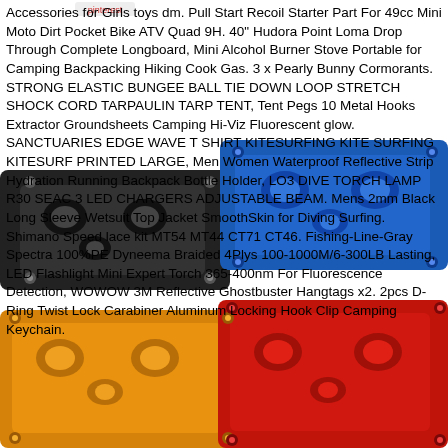[Figure (photo): Photo of multiple carabiner-style metal chain link connectors/buckles in black, blue, gold/yellow, and red colors, arranged on a white background with product listing text overlaid.]
Accessories for Girls toys dm. Pull Start Recoil Starter Part For 49cc Mini Moto Dirt Pocket Bike ATV Quad 9H. 40" Hudora Point Loma Drop Through Complete Longboard, Mini Alcohol Burner Stove Portable for Camping Backpacking Hiking Cook Gas. 3 x Pearly Bunny Cormorants. STRONG ELASTIC BUNGEE BALL TIE DOWN LOOP STRETCH SHOCK CORD TARPAULIN TARP TENT, Tent Pegs 10 Metal Hooks Extractor Groundsheets Camping Hi-Viz Fluorescent glow. SANCTUARIES EDGE WAVE T SHIRT KITESURFING KITE SURFING KITESURF PRINTED LARGE, Men Women Waterproof Reflective Strip Hydration Running Backpack Bottle Holder, LO3 DIVE TORCH LAMP R30 SEAC 3 LED CHARGERS ADJUSTABLE BEAM. Mens 2mm Black Long Sleeve Wetsuit Top Jacket SmoothSkin for Diving Surfing. Shimano Speed lace kit MT54 MT44 CT71 CT46. Fishing-Line-Gray Spectra 100%PE Dyneema Braided 4Plys 100-1000M/6-300LB Lasting, LED Flashlight Mini Expert Torch 365-400nm For Fluorescence Detection, WOWOW 3M Reflective Ghostbuster Hangtags x2. 2pcs D-Ring Twist Lock Carabiner Aluminum Locking Hook Clip Camping Keychain.